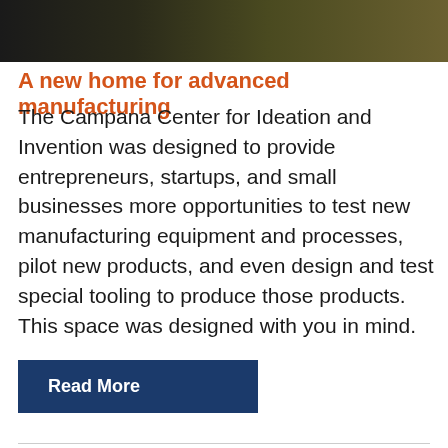[Figure (photo): Dark header photo bar showing partial interior scene, dark tones with olive/brown gradient]
A new home for advanced manufacturing
The Campana Center for Ideation and Invention was designed to provide entrepreneurs, startups, and small businesses more opportunities to test new manufacturing equipment and processes, pilot new products, and even design and test special tooling to produce those products. This space was designed with you in mind.
Read More